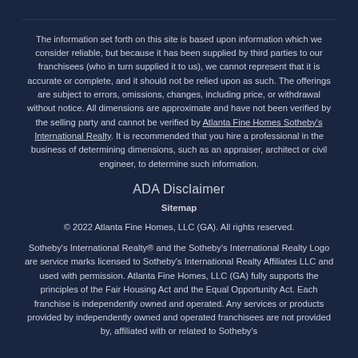The information set forth on this site is based upon information which we consider reliable, but because it has been supplied by third parties to our franchisees (who in turn supplied it to us), we cannot represent that it is accurate or complete, and it should not be relied upon as such. The offerings are subject to errors, omissions, changes, including price, or withdrawal without notice. All dimensions are approximate and have not been verified by the selling party and cannot be verified by Atlanta Fine Homes Sotheby's International Realty. It is recommended that you hire a professional in the business of determining dimensions, such as an appraiser, architect or civil engineer, to determine such information.
ADA Disclaimer
Sitemap
© 2022 Atlanta Fine Homes, LLC (GA). All rights reserved.
Sotheby's International Realty® and the Sotheby's International Realty Logo are service marks licensed to Sotheby's International Realty Affiliates LLC and used with permission. Atlanta Fine Homes, LLC (GA) fully supports the principles of the Fair Housing Act and the Equal Opportunity Act. Each franchise is independently owned and operated. Any services or products provided by independently owned and operated franchisees are not provided by, affiliated with or related to Sotheby's